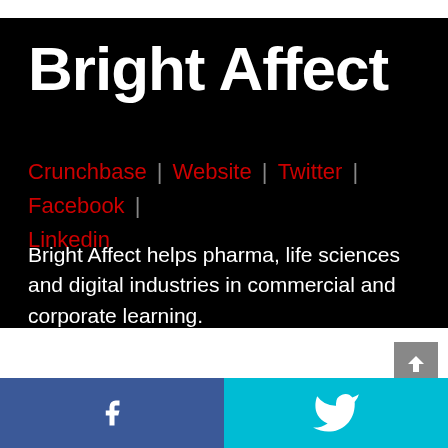Bright Affect
Crunchbase | Website | Twitter | Facebook | Linkedin
Bright Affect helps pharma, life sciences and digital industries in commercial and corporate learning.